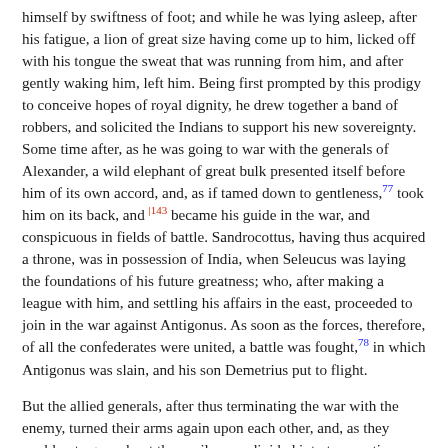himself by swiftness of foot; and while he was lying asleep, after his fatigue, a lion of great size having come up to him, licked off with his tongue the sweat that was running from him, and after gently waking him, left him. Being first prompted by this prodigy to conceive hopes of royal dignity, he drew together a band of robbers, and solicited the Indians to support his new sovereignty. Some time after, as he was going to war with the generals of Alexander, a wild elephant of great bulk presented itself before him of its own accord, and, as if tamed down to gentleness,77 took him on its back, and |143 became his guide in the war, and conspicuous in fields of battle. Sandrocottus, having thus acquired a throne, was in possession of India, when Seleucus was laying the foundations of his future greatness; who, after making a league with him, and settling his affairs in the east, proceeded to join in the war against Antigonus. As soon as the forces, therefore, of all the confederates were united, a battle was fought,78 in which Antigonus was slain, and his son Demetrius put to flight.
But the allied generals, after thus terminating the war with the enemy, turned their arms again upon each other, and, as they could not agree about the spoil, were divided into two parties. Seleucus joined Demetrius, and Ptolemy Lysimachus. Cassander dying, Philip, his son, succeeded him. Thus new wars arose, as it were, from a fresh source, for Macedonia.